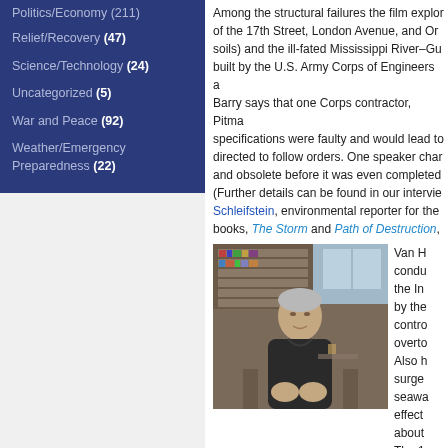Politics/Economy (211)
Relief/Recovery (47)
Science/Technology (24)
Uncategorized (5)
War and Peace (92)
Weather/Emergency Preparedness (22)
Among the structural failures the film explores are the failures of the 17th Street, London Avenue, and Orleans Avenue canals (and their soils) and the ill-fated Mississippi River–Gulf Outlet (MRGO) canal, built by the U.S. Army Corps of Engineers at public expense. John Barry says that one Corps contractor, Pittman Construction, knew the specifications were faulty and would lead to failure, but was directed to follow orders. One speaker charges that the MRGO was built and obsolete before it was even completed. (Further details can be found in our interview with Mark Schleifstein, environmental reporter for the Times-Picayune, and co-author of books, The Storm and Path of Destruction,
[Figure (photo): Photo of an elderly man sitting in an office with bookshelves in the background]
Van H... conducts the In... by the... control... overtook Also h... surge seawa... effect... about... The 1 disclosed in a recent lawsuit that found the responsible for some of the worst flooding during and after Hurricane Katrina.